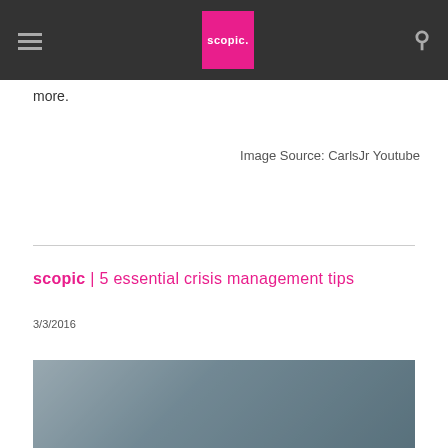scopic. [navigation bar with hamburger menu and search icon]
more.
Image Source: CarlsJr Youtube
scopic  |  5 essential crisis management tips
3/3/2016
[Figure (photo): Blurred photo of a person writing with a pen, suggesting a business or professional context]